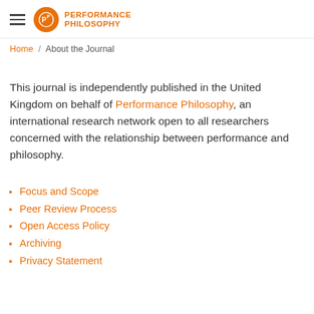Performance Philosophy
Home / About the Journal
This journal is independently published in the United Kingdom on behalf of Performance Philosophy, an international research network open to all researchers concerned with the relationship between performance and philosophy.
Focus and Scope
Peer Review Process
Open Access Policy
Archiving
Privacy Statement